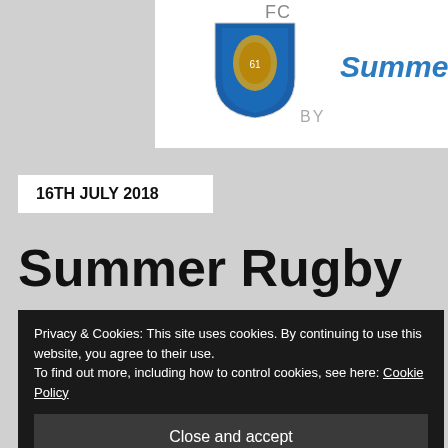[Figure (logo): Rugby FC club shield logo with blue and gold crest, text 'FC' above, 'Summer' in blue italic text to the right, 'BY' below in grey]
16TH JULY 2018
Summer Rugby Camps
Hughes
Privacy & Cookies: This site uses cookies. By continuing to use this website, you agree to their use.
To find out more, including how to control cookies, see here: Cookie Policy
Close and accept